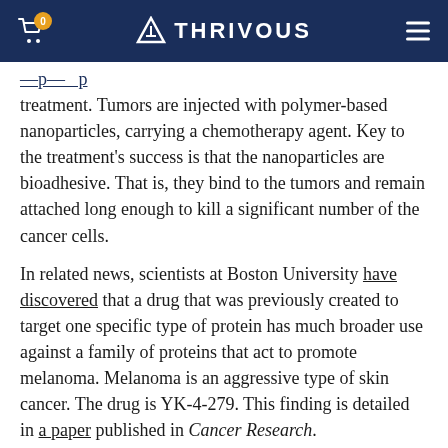THRIVOUS
treatment. Tumors are injected with polymer-based nanoparticles, carrying a chemotherapy agent. Key to the treatment's success is that the nanoparticles are bioadhesive. That is, they bind to the tumors and remain attached long enough to kill a significant number of the cancer cells.
In related news, scientists at Boston University have discovered that a drug that was previously created to target one specific type of protein has much broader use against a family of proteins that act to promote melanoma. Melanoma is an aggressive type of skin cancer. The drug is YK-4-279. This finding is detailed in a paper published in Cancer Research.